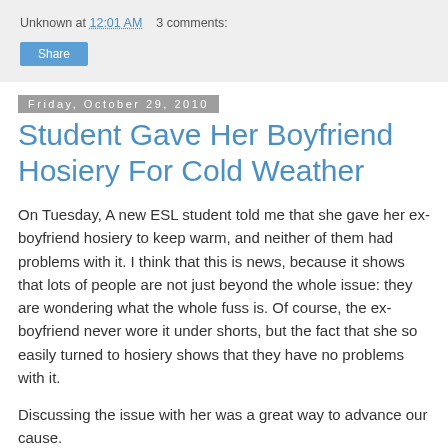Unknown at 12:01 AM   3 comments:
Share
Friday, October 29, 2010
Student Gave Her Boyfriend Hosiery For Cold Weather
On Tuesday, A new ESL student told me that she gave her ex-boyfriend hosiery to keep warm, and neither of them had problems with it. I think that this is news, because it shows that lots of people are not just beyond the whole issue: they are wondering what the whole fuss is. Of course, the ex-boyfriend never wore it under shorts, but the fact that she so easily turned to hosiery shows that they have no problems with it.
Discussing the issue with her was a great way to advance our cause.